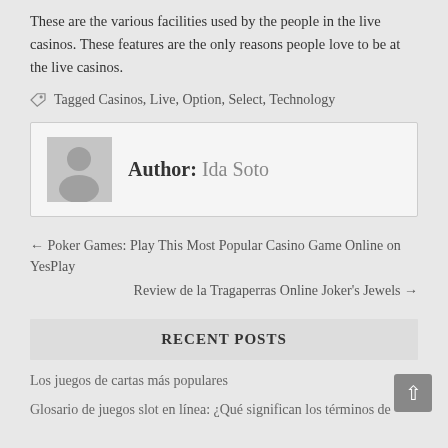These are the various facilities used by the people in the live casinos. These features are the only reasons people love to be at the live casinos.
Tagged Casinos, Live, Option, Select, Technology
Author: Ida Soto
← Poker Games: Play This Most Popular Casino Game Online on YesPlay
Review de la Tragaperras Online Joker's Jewels →
RECENT POSTS
Los juegos de cartas más populares
Glosario de juegos slot en línea: ¿Qué significan los términos de